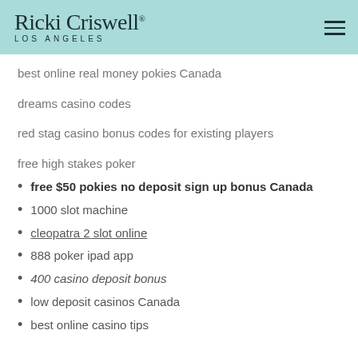Ricki Criswell® LOS ANGELES
best online real money pokies Canada
dreams casino codes
red stag casino bonus codes for existing players
free high stakes poker
free $50 pokies no deposit sign up bonus Canada
1000 slot machine
cleopatra 2 slot online
888 poker ipad app
400 casino deposit bonus
low deposit casinos Canada
best online casino tips